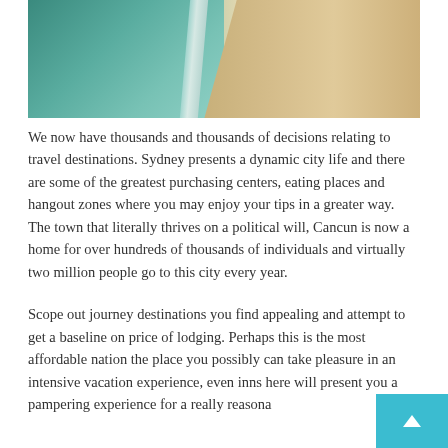[Figure (photo): Aerial view of a beach showing ocean water on the left and sandy shore on the right, with people visible along the shoreline.]
We now have thousands and thousands of decisions relating to travel destinations. Sydney presents a dynamic city life and there are some of the greatest purchasing centers, eating places and hangout zones where you may enjoy your tips in a greater way. The town that literally thrives on a political will, Cancun is now a home for over hundreds of thousands of individuals and virtually two million people go to this city every year.
Scope out journey destinations you find appealing and attempt to get a baseline on price of lodging. Perhaps this is the most affordable nation the place you possibly can take pleasure in an intensive vacation experience, even inns here will present you a pampering experience for a really reasona...